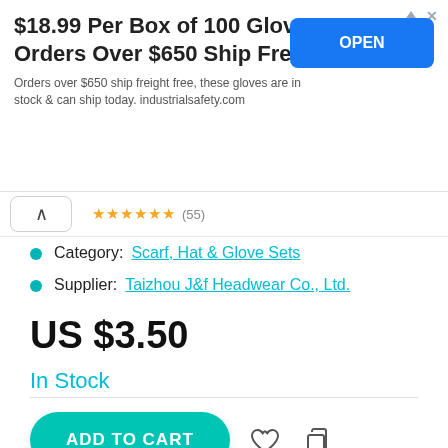[Figure (screenshot): Advertisement banner: '$18.99 Per Box of 100 Gloves - Orders Over $650 Ship Free' with blue OPEN button and small print about industrialsafety.com]
Category: Scarf, Hat & Glove Sets
Supplier: Taizhou J&f Headwear Co., Ltd.
US $3.50
In Stock
[Figure (screenshot): ADD TO CART button (teal/green rounded pill) with heart icon and copy icon to the right]